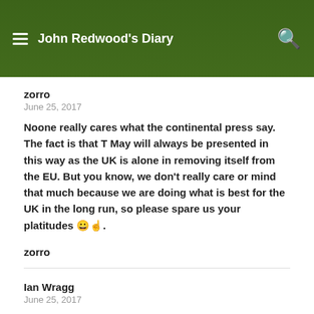John Redwood's Diary
zorro
June 25, 2017
Noone really cares what the continental press say. The fact is that T May will always be presented in this way as the UK is alone in removing itself from the EU. But you know, we don't really care or mind that much because we are doing what is best for the UK in the long run, so please spare us your platitudes 😀☝.
zorro
Ian Wragg
June 25, 2017